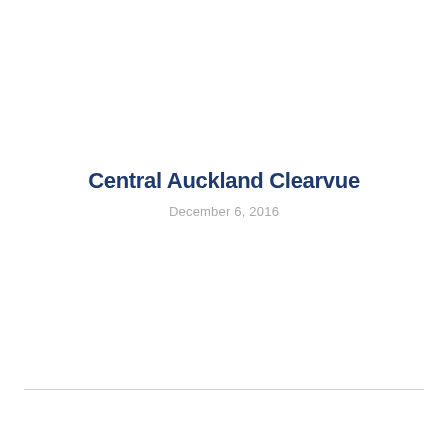Central Auckland Clearvue
December 6, 2016